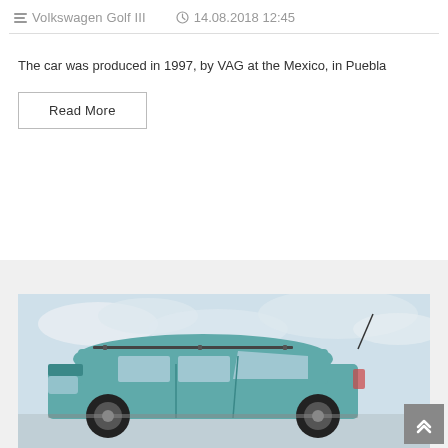Volkswagen Golf III  14.08.2018 12:45
The car was produced in 1997, by VAG at the Mexico, in Puebla
Read More
[Figure (photo): Photograph of a teal/green Volkswagen Golf III wagon/estate parked outdoors against a cloudy sky background. The car is viewed from a three-quarter front angle, showing the roof rack and front windshield.]